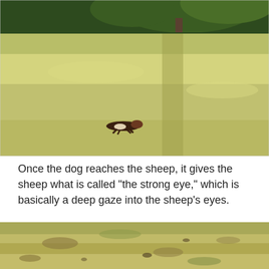[Figure (photo): A dog running low across a grassy field with trees and hedgerow in the background, bright outdoor daylight.]
Once the dog reaches the sheep, it gives the sheep what is called “the strong eye,” which is basically a deep gaze into the sheep’s eyes.
[Figure (photo): A close-up ground-level view of a dry grassy field with patches of brown and green.]